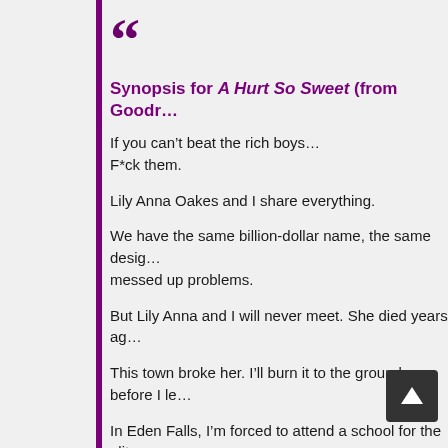“
Synopsis for A Hurt So Sweet (from Goodr…
If you can’t beat the rich boys…
F*ck them.
Lily Anna Oakes and I share everything.
We have the same billion-dollar name, the same desig… messed up problems.
But Lily Anna and I will never meet. She died years ag…
This town broke her. I’ll burn it to the ground before I le…
In Eden Falls, I’m forced to attend a school for the elite… place and they think they own me, too. It’s not long bef… and Julian become the bane of my existence.
There are only two people I’m afraid of – my… the… fiancé. Unfortunately for me, my husband-to-be is one…